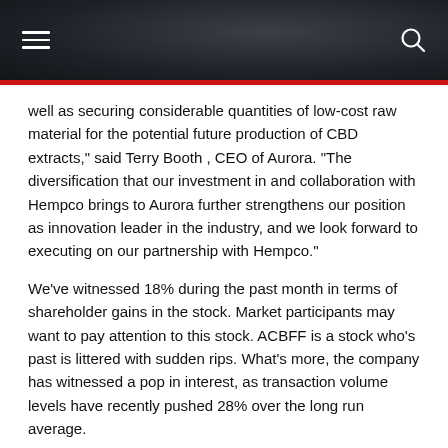[navigation header with hamburger menu and search icon]
well as securing considerable quantities of low-cost raw material for the potential future production of CBD extracts," said Terry Booth , CEO of Aurora. "The diversification that our investment in and collaboration with Hempco brings to Aurora further strengthens our position as innovation leader in the industry, and we look forward to executing on our partnership with Hempco."
We've witnessed 18% during the past month in terms of shareholder gains in the stock. Market participants may want to pay attention to this stock. ACBFF is a stock who's past is littered with sudden rips. What's more, the company has witnessed a pop in interest, as transaction volume levels have recently pushed 28% over the long run average.
At this time, carrying a capital value in the market of $696.89M, ACBFF has a significant war chest ($118.1M) of cash